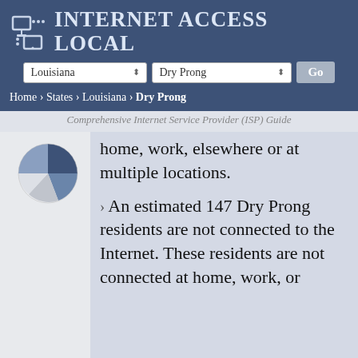Internet Access Local
Louisiana | Dry Prong | Go
Home › States › Louisiana › Dry Prong
Comprehensive Internet Service Provider (ISP) Guide
[Figure (pie-chart): Partial pie chart showing internet access distribution for Dry Prong, with blue and gray slices visible]
home, work, elsewhere or at multiple locations.
An estimated 147 Dry Prong residents are not connected to the Internet. These residents are not connected at home, work, or